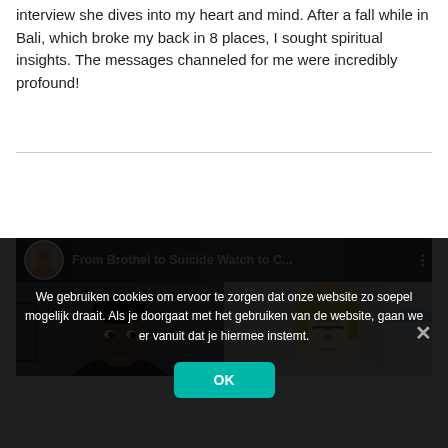interview she dives into my heart and mind. After a fall while in Bali, which broke my back in 8 places, I sought spiritual insights. The messages channeled for me were incredibly profound!
[Figure (screenshot): YouTube video thumbnail showing two women on a video call. Top bar shows channel avatar and title 'From Brothel to Suicide Watch to C...' with three-dot menu. Left half shows a Black woman with braided hair. Right half shows a White woman with blonde hair.]
We gebruiken cookies om ervoor te zorgen dat onze website zo soepel mogelijk draait. Als je doorgaat met het gebruiken van de website, gaan we er vanuit dat je hiermee instemt.